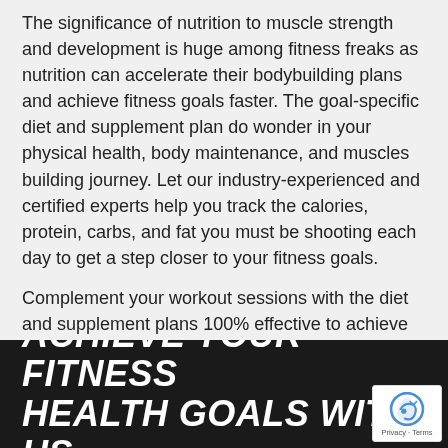The significance of nutrition to muscle strength and development is huge among fitness freaks as nutrition can accelerate their bodybuilding plans and achieve fitness goals faster. The goal-specific diet and supplement plan do wonder in your physical health, body maintenance, and muscles building journey. Let our industry-experienced and certified experts help you track the calories, protein, carbs, and fat you must be shooting each day to get a step closer to your fitness goals.
Complement your workout sessions with the diet and supplement plans 100% effective to achieve your desired outcomes.
ACHIEVE YOUR FITNESS HEALTH GOALS WITH US